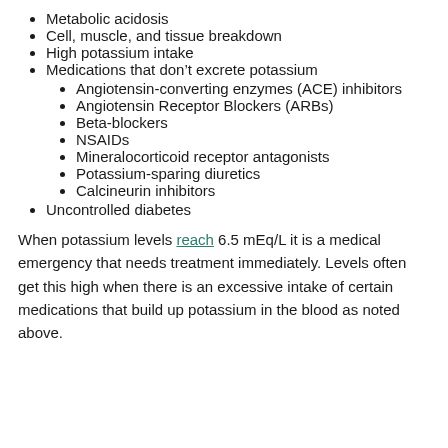Metabolic acidosis
Cell, muscle, and tissue breakdown
High potassium intake
Medications that don't excrete potassium
Angiotensin-converting enzymes (ACE) inhibitors
Angiotensin Receptor Blockers (ARBs)
Beta-blockers
NSAIDs
Mineralocorticoid receptor antagonists
Potassium-sparing diuretics
Calcineurin inhibitors
Uncontrolled diabetes
When potassium levels reach 6.5 mEq/L it is a medical emergency that needs treatment immediately. Levels often get this high when there is an excessive intake of certain medications that build up potassium in the blood as noted above.